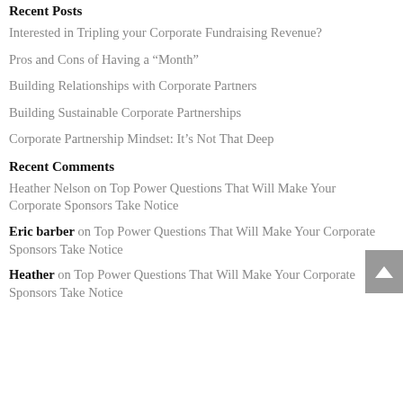Recent Posts
Interested in Tripling your Corporate Fundraising Revenue?
Pros and Cons of Having a “Month”
Building Relationships with Corporate Partners
Building Sustainable Corporate Partnerships
Corporate Partnership Mindset: It’s Not That Deep
Recent Comments
Heather Nelson on Top Power Questions That Will Make Your Corporate Sponsors Take Notice
Eric barber on Top Power Questions That Will Make Your Corporate Sponsors Take Notice
Heather on Top Power Questions That Will Make Your Corporate Sponsors Take Notice